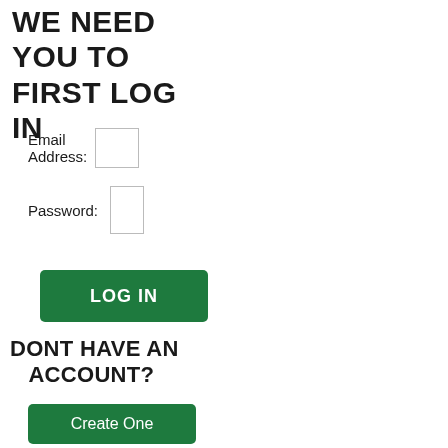WE NEED YOU TO FIRST LOG IN
Email Address:
Password:
LOG IN
DONT HAVE AN ACCOUNT?
Create One